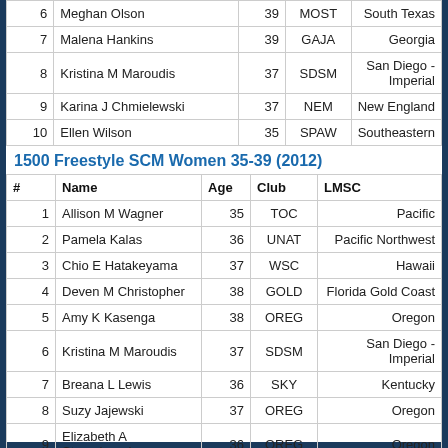| # | Name | Age | Club | LMSC |
| --- | --- | --- | --- | --- |
| 6 | Meghan Olson | 39 | MOST | South Texas |
| 7 | Malena Hankins | 39 | GAJA | Georgia |
| 8 | Kristina M Maroudis | 37 | SDSM | San Diego - Imperial |
| 9 | Karina J Chmielewski | 37 | NEM | New England |
| 10 | Ellen Wilson | 35 | SPAW | Southeastern |
1500 Freestyle SCM Women 35-39 (2012)
| # | Name | Age | Club | LMSC |
| --- | --- | --- | --- | --- |
| 1 | Allison M Wagner | 35 | TOC | Pacific |
| 2 | Pamela Kalas | 36 | UNAT | Pacific Northwest |
| 3 | Chio E Hatakeyama | 37 | WSC | Hawaii |
| 4 | Deven M Christopher | 38 | GOLD | Florida Gold Coast |
| 5 | Amy K Kasenga | 38 | OREG | Oregon |
| 6 | Kristina M Maroudis | 37 | SDSM | San Diego - Imperial |
| 7 | Breana L Lewis | 36 | SKY | Kentucky |
| 8 | Suzy Jajewski | 37 | OREG | Oregon |
| 9 | Elizabeth A Strausbaugh | 36 | OREG | Oregon |
| 10 | Stephanie K Dillbeck | 35 | MSCA | Southern Pacific |